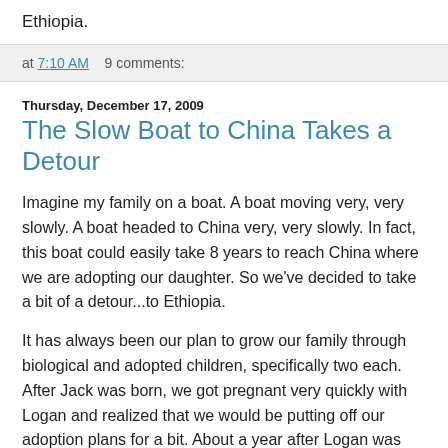Ethiopia.
at 7:10 AM   9 comments:
Thursday, December 17, 2009
The Slow Boat to China Takes a Detour
Imagine my family on a boat. A boat moving very, very slowly. A boat headed to China very, very slowly. In fact, this boat could easily take 8 years to reach China where we are adopting our daughter. So we've decided to take a bit of a detour...to Ethiopia.
It has always been our plan to grow our family through biological and adopted children, specifically two each. After Jack was born, we got pregnant very quickly with Logan and realized that we would be putting off our adoption plans for a bit. About a year after Logan was born we started researching our adoption options. At the time, adopting our daughter from China seemed like the best fit for our family.